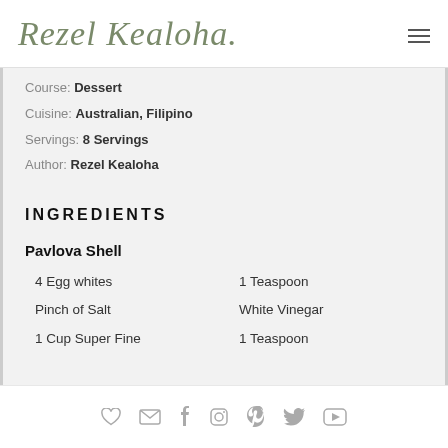Rezel Kealoha
Course: Dessert
Cuisine: Australian, Filipino
Servings: 8 Servings
Author: Rezel Kealoha
INGREDIENTS
Pavlova Shell
4 Egg whites
1 Teaspoon
Pinch of Salt
White Vinegar
1 Cup Super Fine
1 Teaspoon
♥ ✉ f ⌂ p ✓ ▶